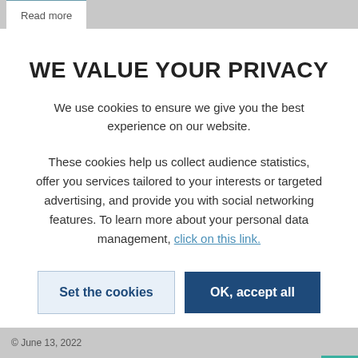Read more
WE VALUE YOUR PRIVACY
We use cookies to ensure we give you the best experience on our website.
These cookies help us collect audience statistics, offer you services tailored to your interests or targeted advertising, and provide you with social networking features. To learn more about your personal data management, click on this link.
Set the cookies
OK, accept all
© June 13, 2022